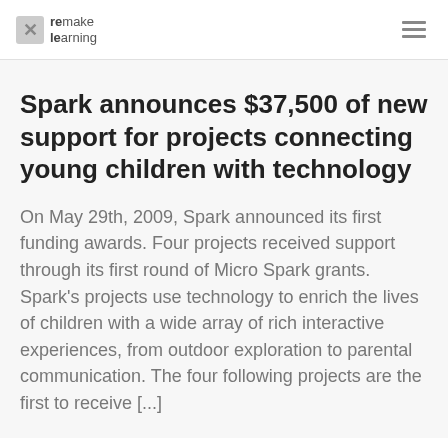remake learning
Spark announces $37,500 of new support for projects connecting young children with technology
On May 29th, 2009, Spark announced its first funding awards. Four projects received support through its first round of Micro Spark grants. Spark’s projects use technology to enrich the lives of children with a wide array of rich interactive experiences, from outdoor exploration to parental communication. The four following projects are the first to receive [...]